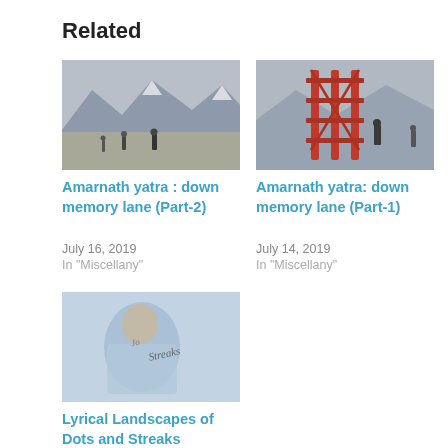Related
[Figure (photo): Mountain landscape with people walking on a wide valley, snowy peaks in background - thumbnail for Amarnath yatra Part-2]
Amarnath yatra : down memory lane (Part-2)
July 16, 2019
In "Miscellany"
[Figure (photo): Red metallic structure/scaffolding with a person silhouetted in misty mountain backdrop - thumbnail for Amarnath yatra Part-1]
Amarnath yatra: down memory lane (Part-1)
July 14, 2019
In "Miscellany"
[Figure (photo): A person in light blue/white attire with cursive text overlay reading 'Streaks' - thumbnail for Lyrical Landscapes of Dots and Streaks]
Lyrical Landscapes of Dots and Streaks